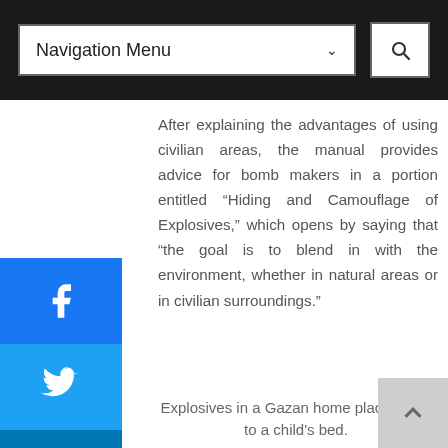Navigation Menu
Explosives in a Gazan home placed next to a child's bed.
After explaining the advantages of using civilian areas, the manual provides advice for bomb makers in a portion entitled “Hiding and Camouflage of Explosives,” which opens by saying that “the goal is to blend in with the environment, whether in natural areas or in civilian surroundings.”